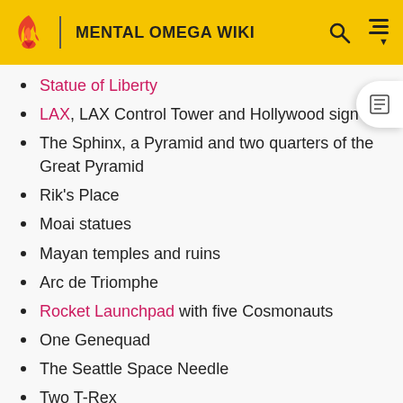MENTAL OMEGA WIKI
Statue of Liberty
LAX, LAX Control Tower and Hollywood sign
The Sphinx, a Pyramid and two quarters of the Great Pyramid
Rik's Place
Moai statues
Mayan temples and ruins
Arc de Triomphe
Rocket Launchpad with five Cosmonauts
One Genequad
The Seattle Space Needle
Two T-Rex
Alexander Romanov, Michael Dugan, Albert Einstein, a Cow, Monkey, Polar Bear, Alligator and Allied Attack